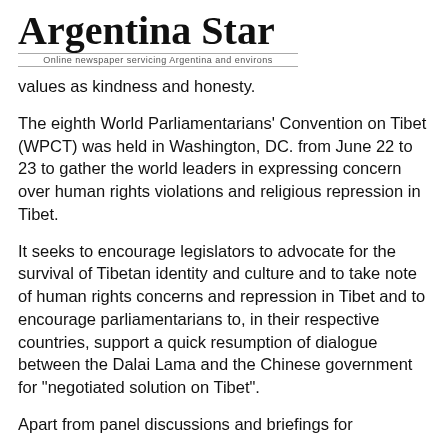Argentina Star — Online newspaper serving Argentina and environs
values as kindness and honesty.
The eighth World Parliamentarians' Convention on Tibet (WPCT) was held in Washington, DC. from June 22 to 23 to gather the world leaders in expressing concern over human rights violations and religious repression in Tibet.
It seeks to encourage legislators to advocate for the survival of Tibetan identity and culture and to take note of human rights concerns and repression in Tibet and to encourage parliamentarians to, in their respective countries, support a quick resumption of dialogue between the Dalai Lama and the Chinese government for "negotiated solution on Tibet".
Apart from panel discussions and briefings for